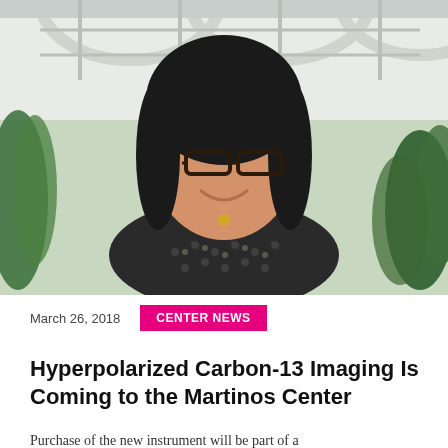[Figure (photo): Portrait photo of a woman with black hair and glasses, wearing a black and white patterned top with a gold necklace, smiling, in front of a building atrium with plants in the background.]
March 26, 2018
CENTER NEWS
Hyperpolarized Carbon-13 Imaging Is Coming to the Martinos Center
Purchase of the new instrument will be part of a